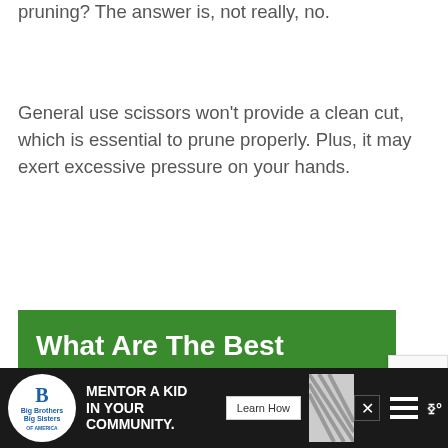pruning? The answer is, not really, no.
General use scissors won't provide a clean cut, which is essential to prune properly. Plus, it may exert excessive pressure on your hands.
What Are The Best Pruning Shears?
[Figure (other): Advertisement bar: Big Brothers Big Sisters logo, 'MENTOR A KID IN YOUR COMMUNITY.' with Learn How button, diagonal pattern, hamburger menu, weather icon]
[Figure (other): reCAPTCHA badge in bottom right corner]